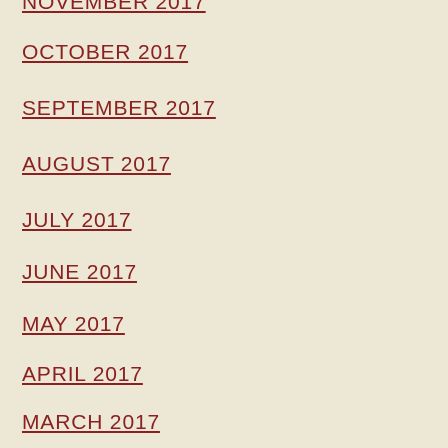NOVEMBER 2017
OCTOBER 2017
SEPTEMBER 2017
AUGUST 2017
JULY 2017
JUNE 2017
MAY 2017
APRIL 2017
MARCH 2017
FEBRUARY 2017
JANUARY 2017
DECEMBER 2016